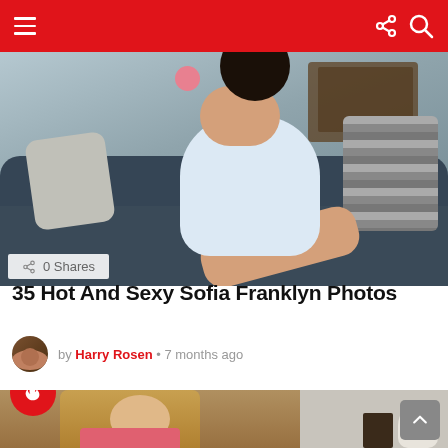Navigation bar with menu, share, and search icons
[Figure (photo): Woman in white dress sitting on a dark sofa holding a flower, indoor setting with wooden furniture]
0 Shares
35 Hot And Sexy Sofia Franklyn Photos
by Harry Rosen • 7 months ago
[Figure (photo): Blonde woman with dangling earrings in pink top, second half shows a room interior; fire badge icon overlay]